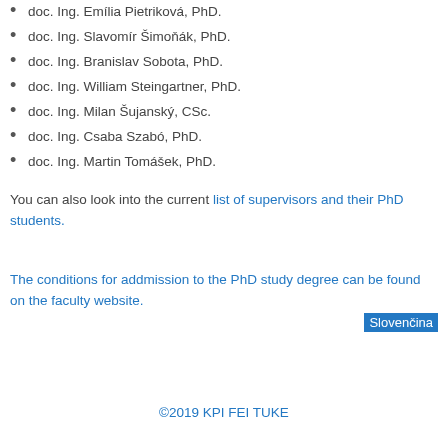doc. Ing. Emília Pietriková, PhD.
doc. Ing. Slavomír Šimoňák, PhD.
doc. Ing. Branislav Sobota, PhD.
doc. Ing. William Steingartner, PhD.
doc. Ing. Milan Šujanský, CSc.
doc. Ing. Csaba Szabó, PhD.
doc. Ing. Martin Tomášek, PhD.
You can also look into the current list of supervisors and their PhD students.
The conditions for addmission to the PhD study degree can be found on the faculty website.
Slovenčina
©2019 KPI FEI TUKE